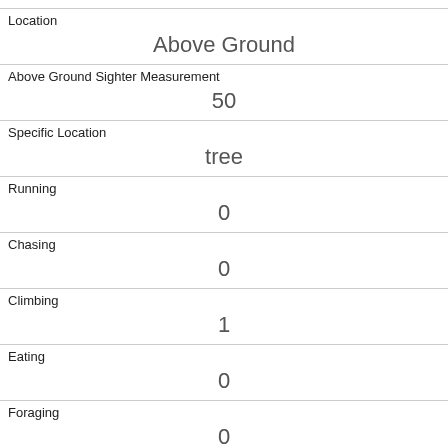Location
Above Ground
Above Ground Sighter Measurement
50
Specific Location
tree
Running
0
Chasing
0
Climbing
1
Eating
0
Foraging
0
Other Activities
Kuks